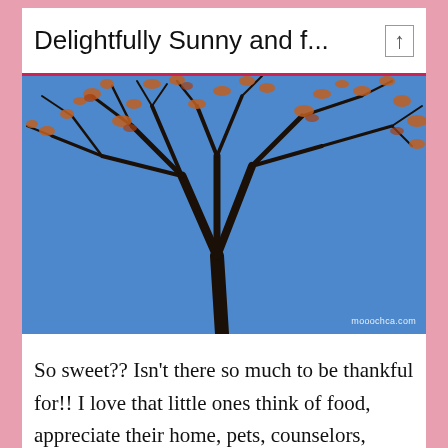Delightfully Sunny and f...
[Figure (photo): Photograph of bare tree branches with scattered autumn/dried leaves against a bright blue sky, watermark reads 'mooochca.com']
So sweet?? Isn't there so much to be thankful for!! I love that little ones think of food, appreciate their home, pets, counselors, teachers, life and so many more things!! They appreciate the small things, good lesson for all of us...What do you